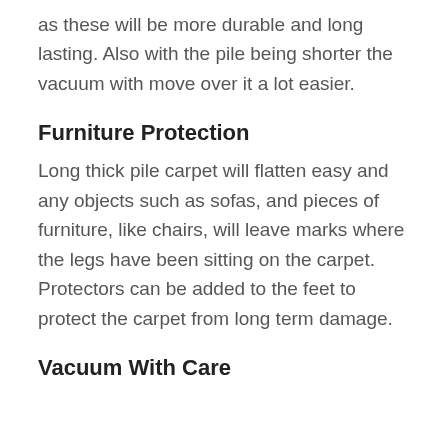as these will be more durable and long lasting. Also with the pile being shorter the vacuum with move over it a lot easier.
Furniture Protection
Long thick pile carpet will flatten easy and any objects such as sofas, and pieces of furniture, like chairs, will leave marks where the legs have been sitting on the carpet. Protectors can be added to the feet to protect the carpet from long term damage.
Vacuum With Care